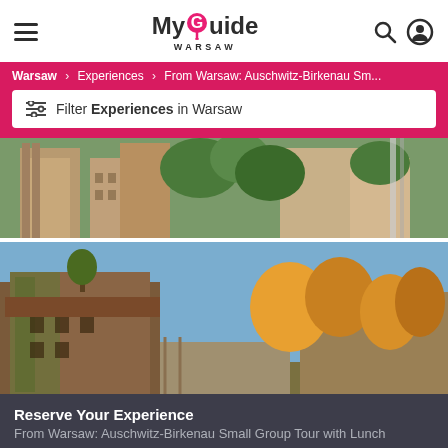My Guide Warsaw
Warsaw > Experiences > From Warsaw: Auschwitz-Birkenau Sm...
Filter Experiences in Warsaw
[Figure (photo): Auschwitz-Birkenau camp buildings and trees, upper photo]
[Figure (photo): Auschwitz-Birkenau brick buildings with ivy, lower photo]
Reserve Your Experience
From Warsaw: Auschwitz-Birkenau Small Group Tour with Lunch
BOOK NOW